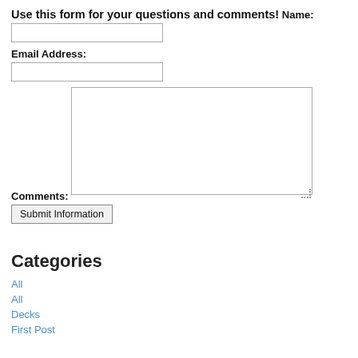Use this form for your questions and comments!
Name:
Email Address:
Comments:
Submit Information
Categories
All
All
Decks
First Post